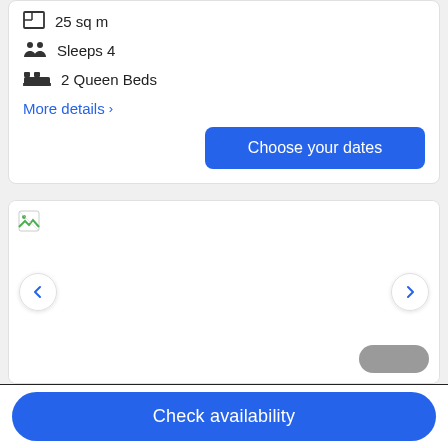25 sq m
Sleeps 4
2 Queen Beds
More details >
Choose your dates
[Figure (photo): Hotel room photo (broken/unloaded image) with left and right navigation arrows]
Check availability